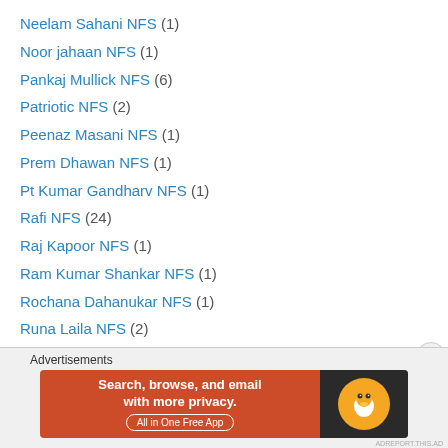Neelam Sahani NFS (1)
Noor jahaan NFS (1)
Pankaj Mullick NFS (6)
Patriotic NFS (2)
Peenaz Masani NFS (1)
Prem Dhawan NFS (1)
Pt Kumar Gandharv NFS (1)
Rafi NFS (24)
Raj Kapoor NFS (1)
Ram Kumar Shankar NFS (1)
Rochana Dahanukar NFS (1)
Runa Laila NFS (2)
S D Burman NFS (5)
S Janki NFS (1)
Sandhya Mukherji NFS (2)
Seema Sehgal NFS (1)
[Figure (infographic): DuckDuckGo advertisement banner: orange background with text 'Search, browse, and email with more privacy. All in One Free App' and DuckDuckGo logo on dark right panel.]